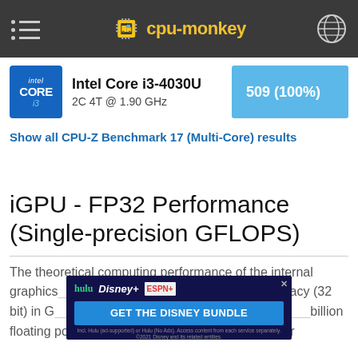cpu-monkey
Intel Core i3-4030U
2C 4T @ 1.90 GHz
509 (100%)
Show all CPU-Z Benchmark 17 (Multi-Core) results
iGPU - FP32 Performance (Single-precision GFLOPS)
The theoretical computing performance of the internal graphics card using single-precision accuracy (32-bit) in GFLOPS. GFLOPS indicates how many billion floating point operations the iGPU can perform per
[Figure (screenshot): Advertisement banner for Disney Bundle featuring Hulu, Disney+, ESPN+ with 'GET THE DISNEY BUNDLE' call to action]